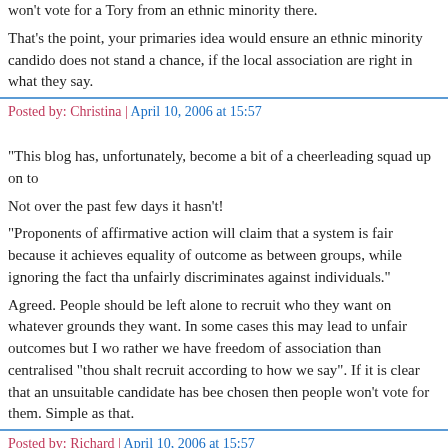won't vote for a Tory from an ethnic minority there.
That's the point, your primaries idea would ensure an ethnic minority candidate does not stand a chance, if the local association are right in what they say.
Posted by: Christina | April 10, 2006 at 15:57
"This blog has, unfortunately, become a bit of a cheerleading squad up on to
Not over the past few days it hasn't!
"Proponents of affirmative action will claim that a system is fair because it achieves equality of outcome as between groups, while ignoring the fact that it unfairly discriminates against individuals."
Agreed. People should be left alone to recruit who they want on whatever grounds they want. In some cases this may lead to unfair outcomes but I would rather we have freedom of association than centralised "thou shalt recruit according to how we say". If it is clear that an unsuitable candidate has been chosen then people won't vote for them. Simple as that.
Posted by: Richard | April 10, 2006 at 15:57
"That's the point, your primaries idea would ensure an ethnic minority candidate does not stand a chance, if the local association are right in what they say.